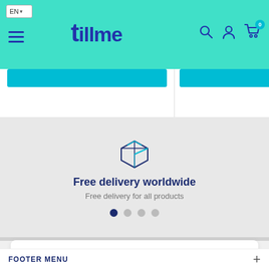[Figure (screenshot): Website header with teal background showing EN language selector, hamburger menu, tillme logo in dark blue, and search/account/cart icons]
[Figure (screenshot): Product cards row showing two cards with teal buy buttons]
Free delivery worldwide
Free delivery for all products
[Figure (other): Pagination dots: 4 dots, first one active (dark blue), rest grey]
We use cookies for giving you a better experience on our site.
Accept
FOOTER MENU